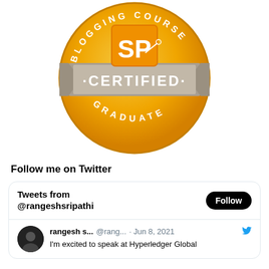[Figure (logo): SP Blogging Course Certified Graduate badge — circular orange badge with gold gradient, gray ribbon banner reading CERTIFIED in white, text BLOGGING COURSE around the top arc and GRADUATE around the bottom arc, SP logo in the center on an orange square with scissors graphic]
Follow me on Twitter
[Figure (screenshot): Twitter widget showing 'Tweets from @rangeshsripathi' with a Follow button, and a tweet by rangesh s... @rang... Jun 8, 2021 saying 'I'm excited to speak at Hyperledger Global']